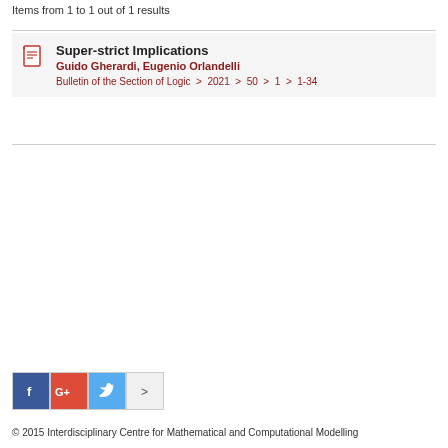Items from 1 to 1 out of 1 results
Super-strict Implications
Guido Gherardi, Eugenio Orlandelli
Bulletin of the Section of Logic > 2021 > 50 > 1 > 1-34
[Figure (other): Social sharing buttons: Facebook (f), Google+ (G+), Twitter (bird icon), and a more button]
© 2015 Interdisciplinary Centre for Mathematical and Computational Modelling